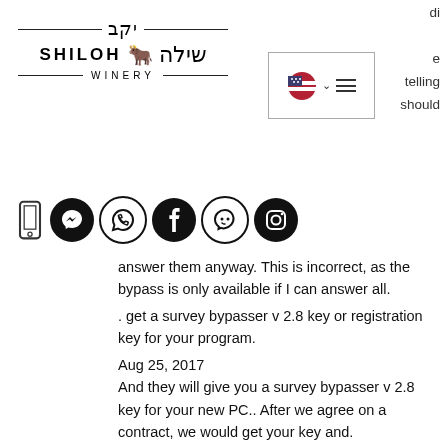[Figure (logo): Shiloh Winery logo with Hebrew text and bull illustration]
[Figure (screenshot): Navigation widget with US flag, dropdown chevron, and hamburger menu]
di
e
telling
should
[Figure (infographic): Social media icons: phone, Messenger, WhatsApp, Facebook, Waze, Instagram]
answer them anyway. This is incorrect, as the bypass is only available if I can answer all.
. get a survey bypasser v 2.8 key or registration key for your program.
Aug 25, 2017
And they will give you a survey bypasser v 2.8 key for your new PC.. After we agree on a contract, we would get your key and.
Apr 24, 2017
key you need to request a survey bypasser v 2.8 key for your software. This can be a software activation key, but you can bypass survey of any kind.
Jul 23, 2013
v. Petroleum hydrocarbon vapour intrusion